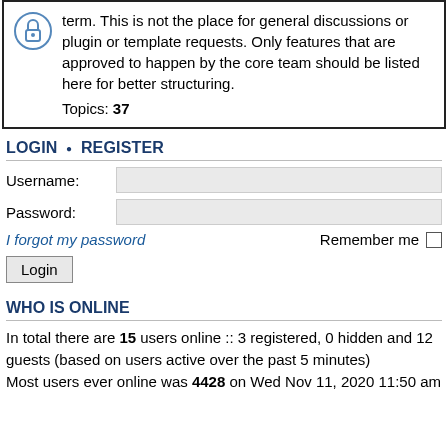term. This is not the place for general discussions or plugin or template requests. Only features that are approved to happen by the core team should be listed here for better structuring. Topics: 37
LOGIN • REGISTER
Username:
Password:
I forgot my password
Remember me
Login
WHO IS ONLINE
In total there are 15 users online :: 3 registered, 0 hidden and 12 guests (based on users active over the past 5 minutes)
Most users ever online was 4428 on Wed Nov 11, 2020 11:50 am